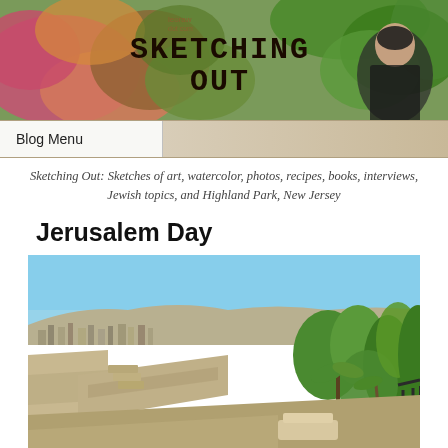[Figure (illustration): Blog header banner for 'Sketching Out' blog by leoraw dot com, showing colorful autumn leaves in pink, orange, green on the left, large serif/monospace bold text 'SKETCHING OUT' in the center, and a black-and-white portrait of a woman on the right with greenery background.]
Blog Menu
Sketching Out: Sketches of art, watercolor, photos, recipes, books, interviews, Jewish topics, and Highland Park, New Jersey
Jerusalem Day
[Figure (photo): A photograph of Jerusalem showing ancient stone walls and ramparts in the foreground with lush green vegetation including palm-like plants and trees on the right side, and a sprawling cityscape with densely packed buildings on hillsides in the background under a clear blue sky.]